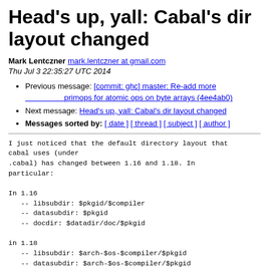Head's up, yall: Cabal's dir layout changed
Mark Lentczner mark.lentczner at gmail.com
Thu Jul 3 22:35:27 UTC 2014
Previous message: [commit: ghc] master: Re-add more primops for atomic ops on byte arrays (4ee4ab0)
Next message: Head's up, yall: Cabal's dir layout changed
Messages sorted by: [ date ] [ thread ] [ subject ] [ author ]
I just noticed that the default directory layout that
cabal uses (under
.cabal) has changed between 1.16 and 1.18. In
particular:

In 1.16
   -- libsubdir: $pkgid/$compiler
   -- datasubdir: $pkgid
   -- docdir: $datadir/doc/$pkgid

in 1.18
   -- libsubdir: $arch-$os-$compiler/$pkgid
   -- datasubdir: $arch-$os-$compiler/$pkgid